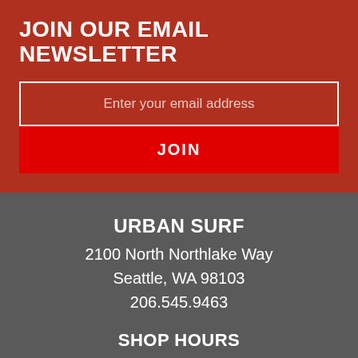JOIN OUR EMAIL NEWSLETTER
Enter your email address
JOIN
URBAN SURF
2100 North Northlake Way
Seattle, WA 98103
206.545.9463
SHOP HOURS
Monday-Friday: 10am-6pm
Saturday: 10am-5pm
Sunday: 11am-5pm